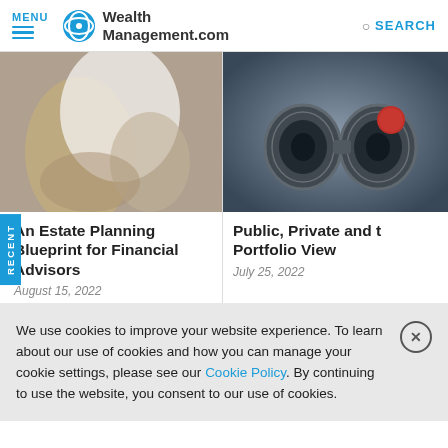MENU | WealthManagement.com | SEARCH
[Figure (photo): Person in white coat, blurred background, finance/medical consultation scene]
[Figure (photo): Close-up of ornate metallic binoculars with red sticker on top]
An Estate Planning Blueprint for Financial Advisors
August 15, 2022
Public, Private and t Portfolio View
July 25, 2022
We use cookies to improve your website experience. To learn about our use of cookies and how you can manage your cookie settings, please see our Cookie Policy. By continuing to use the website, you consent to our use of cookies.